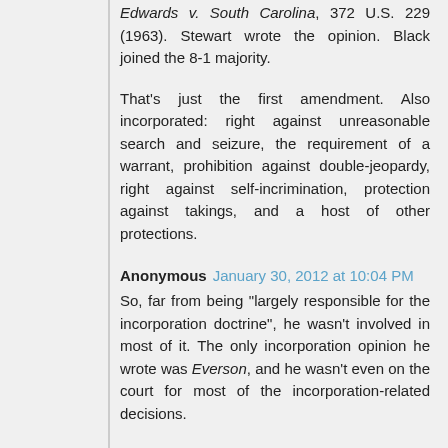Edwards v. South Carolina, 372 U.S. 229 (1963). Stewart wrote the opinion. Black joined the 8-1 majority.
That's just the first amendment. Also incorporated: right against unreasonable search and seizure, the requirement of a warrant, prohibition against double-jeopardy, right against self-incrimination, protection against takings, and a host of other protections.
Anonymous January 30, 2012 at 10:04 PM
So, far from being "largely responsible for the incorporation doctrine", he wasn't involved in most of it. The only incorporation opinion he wrote was Everson, and he wasn't even on the court for most of the incorporation-related decisions.
So, on this point, like on pretty much every other, you are uninformed and incorrect.